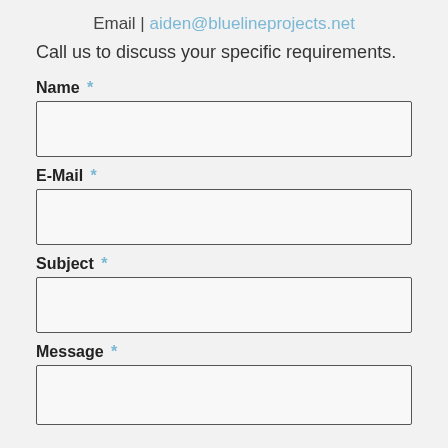Email | aiden@bluelineprojects.net
Call us to discuss your specific requirements.
Name *
E-Mail *
Subject *
Message *